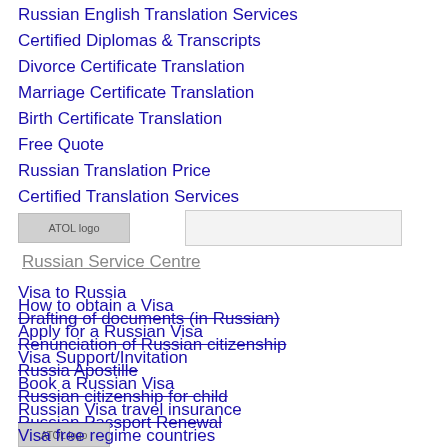Russian English Translation Services
Certified Diplomas & Transcripts
Divorce Certificate Translation
Marriage Certificate Translation
Birth Certificate Translation
Free Quote
Russian Translation Price
Certified Translation Services
[Figure (logo): ATOL logo placeholder image]
[Figure (screenshot): Input/search box]
Russian Service Centre
Visa to Russia
Drafting of documents (in Russian)
Renunciation of Russian citizenship
Russia Apostille
Russian citizenship for child
Russian Passport Renewal
How to obtain a Visa
Apply for a Russian Visa
Visa Support/Invitation
Book a Russian Visa
Russian Visa travel insurance
[Figure (logo): ATOL logo placeholder image second]
Visa free regime countries
Apply for a Visa
Destination Guide
About Russian Visas